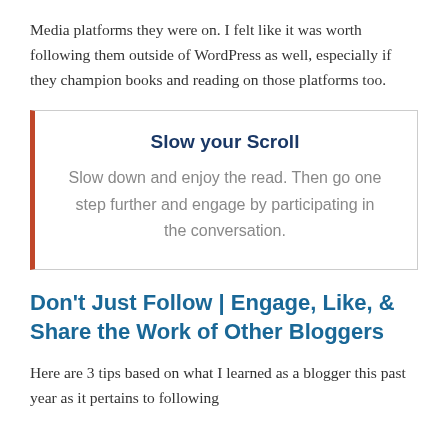Media platforms they were on. I felt like it was worth following them outside of WordPress as well, especially if they champion books and reading on those platforms too.
Slow your Scroll
Slow down and enjoy the read. Then go one step further and engage by participating in the conversation.
Don’t Just Follow | Engage, Like, & Share the Work of Other Bloggers
Here are 3 tips based on what I learned as a blogger this past year as it pertains to following